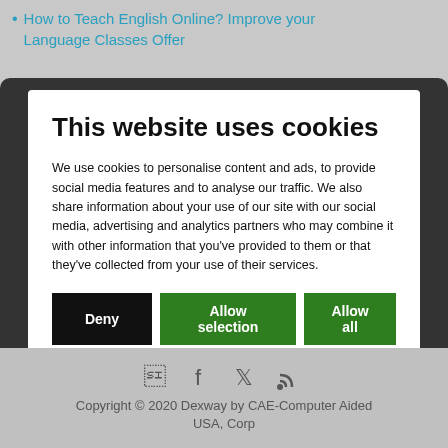How to Teach English Online? Improve your Language Classes Offer
This website uses cookies
We use cookies to personalise content and ads, to provide social media features and to analyse our traffic. We also share information about your use of our site with our social media, advertising and analytics partners who may combine it with other information that you've provided to them or that they've collected from your use of their services.
Deny | Allow selection | Allow all
Necessary | Preferences | Statistics | Marketing | Show details
Copyright © 2020 Dexway by CAE-Computer Aided USA, Corp